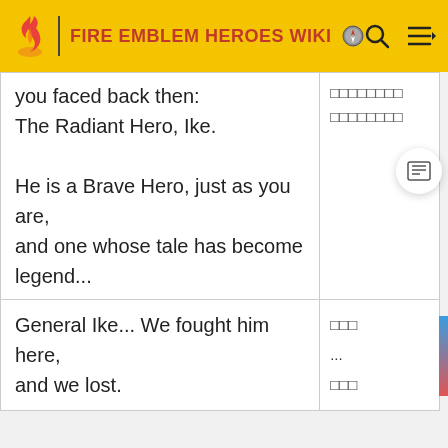FIRE EMBLEM HEROES WIKI
| you faced back then:
The Radiant Hero, Ike.

He is a Brave Hero, just as you are,
and one whose tale has become legend... | □□□□□□□□
□□□□□□□□ |
| General Ike... We fought him here,
and we lost. | □□□
...
□□□ |